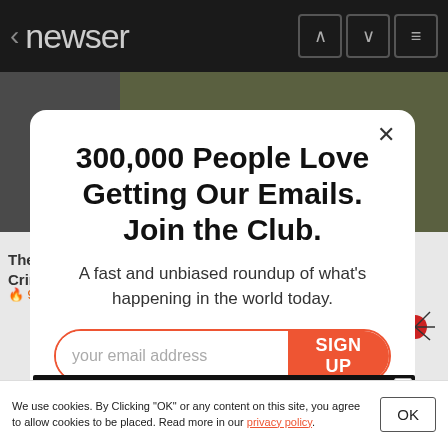< newser
[Figure (screenshot): Dark background showing partially visible article with title text 'These Cring...' and fire icon '94,1...' with sketch-like drawings]
300,000 People Love Getting Our Emails. Join the Club.
A fast and unbiased roundup of what's happening in the world today.
your email address   SIGN UP
Join the 300,000 people who start and end their day with newser newsletters
We use cookies. By Clicking "OK" or any content on this site, you agree to allow cookies to be placed. Read more in our privacy policy.